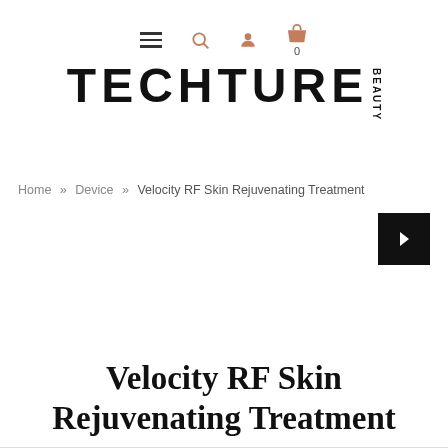Navigation icons: hamburger menu, search, user, shopping bag (0)
[Figure (logo): TECHTURE BEAUTY logo in large bold uppercase letters with BEAUTY written vertically on the right side]
Home » Device » Velocity RF Skin Rejuvenating Treatment
[Figure (other): Right-pointing arrow button in black square, for image slider navigation]
Velocity RF Skin Rejuvenating Treatment